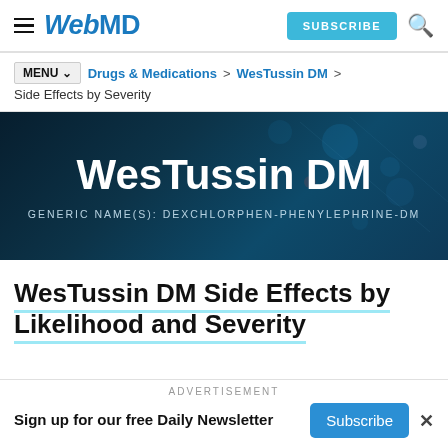WebMD — SUBSCRIBE
MENU∨  Drugs & Medications > WesTussin DM > Side Effects by Severity
WesTussin DM
GENERIC NAME(S): DEXCHLORPHEN-PHENYLEPHRINE-DM
WesTussin DM Side Effects by Likelihood and Severity
ADVERTISEMENT
Sign up for our free Daily Newsletter  Subscribe